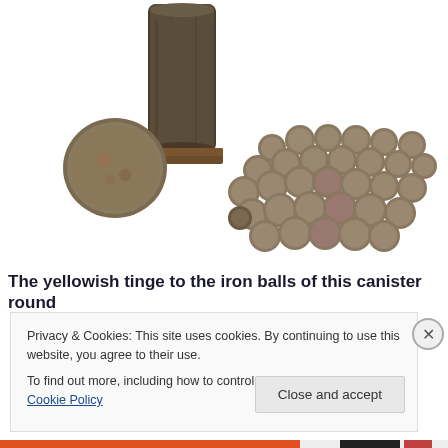[Figure (photo): A cylindrical iron canister with a round iron disc leaning against it, surrounded by approximately 30 small iron balls/shot scattered on a white background. The balls have a yellowish-brown tinge from corrosion or aging.]
The yellowish tinge to the iron balls of this canister round
Privacy & Cookies: This site uses cookies. By continuing to use this website, you agree to their use.
To find out more, including how to control cookies, see here: Cookie Policy
Close and accept